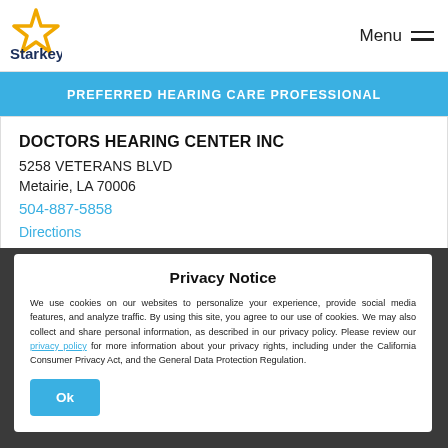[Figure (logo): Starkey logo with gold star and dark blue text]
Menu
PREFERRED HEARING CARE PROFESSIONAL
DOCTORS HEARING CENTER INC
5258 VETERANS BLVD
Metairie, LA 70006
504-887-5858
Directions
OFFICE HOURS
Privacy Notice
We use cookies on our websites to personalize your experience, provide social media features, and analyze traffic. By using this site, you agree to our use of cookies. We may also collect and share personal information, as described in our privacy policy. Please review our privacy policy for more information about your privacy rights, including under the California Consumer Privacy Act, and the General Data Protection Regulation.
Ok